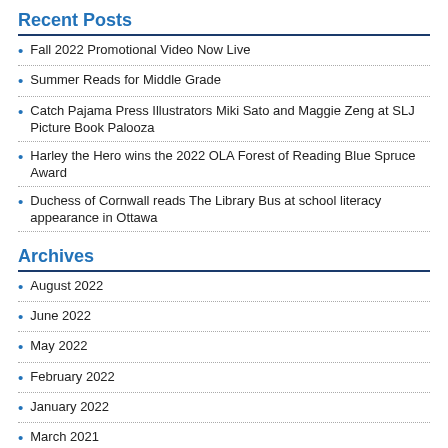Recent Posts
Fall 2022 Promotional Video Now Live
Summer Reads for Middle Grade
Catch Pajama Press Illustrators Miki Sato and Maggie Zeng at SLJ Picture Book Palooza
Harley the Hero wins the 2022 OLA Forest of Reading Blue Spruce Award
Duchess of Cornwall reads The Library Bus at school literacy appearance in Ottawa
Archives
August 2022
June 2022
May 2022
February 2022
January 2022
March 2021
December 2020
November 2020
July 2020